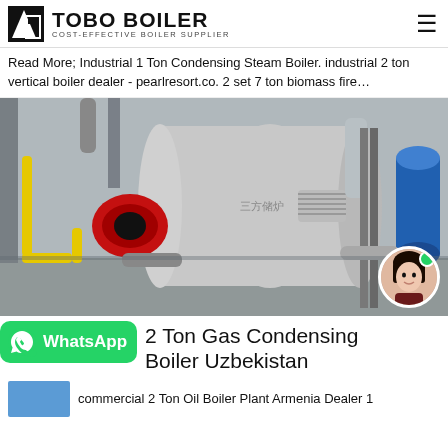TOBO BOILER — COST-EFFECTIVE BOILER SUPPLIER
Read More; Industrial 1 Ton Condensing Steam Boiler. industrial 2 ton vertical boiler dealer - pearlresort.co. 2 set 7 ton biomass fire…
[Figure (photo): Industrial gas boiler with red burner, stainless steel pipes and fittings, inside a factory. A customer service avatar is shown in a circular frame at bottom right.]
2 Ton Gas Condensing Boiler Uzbekistan
commercial 2 Ton Oil Boiler Plant Armenia Dealer 1